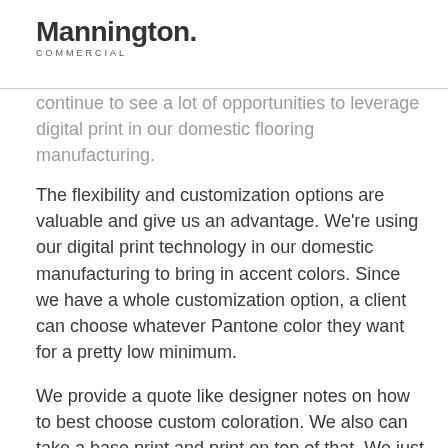Mannington COMMERCIAL
continue to see a lot of opportunities to leverage digital print in our domestic flooring manufacturing.
The flexibility and customization options are valuable and give us an advantage. We're using our digital print technology in our domestic manufacturing to bring in accent colors. Since we have a whole customization option, a client can choose whatever Pantone color they want for a pretty low minimum.
We provide a quote like designer notes on how to best choose custom coloration. We also can take a base print and print on top of that. We just made a digital print that's a green teal color so a hospital